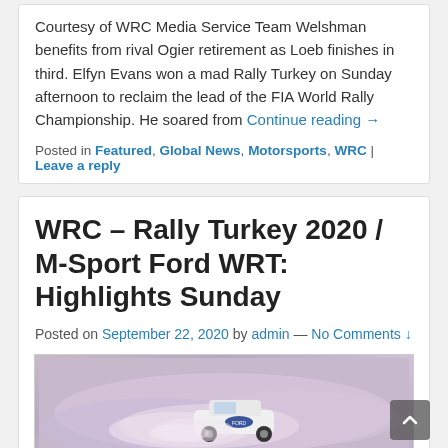Courtesy of WRC Media Service Team Welshman benefits from rival Ogier retirement as Loeb finishes in third. Elfyn Evans won a mad Rally Turkey on Sunday afternoon to reclaim the lead of the FIA World Rally Championship. He soared from Continue reading →
Posted in Featured, Global News, Motorsports, WRC | Leave a reply
WRC – Rally Turkey 2020 / M-Sport Ford WRT: Highlights Sunday
Posted on September 22, 2020 by admin — No Comments ↓
[Figure (photo): Rally car driving through dusty/sandy terrain at speed, creating a large dust cloud, with pink/purple haze background]